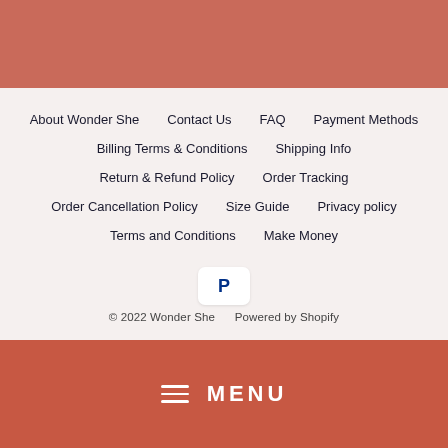About Wonder She
Contact Us
FAQ
Payment Methods
Billing Terms & Conditions
Shipping Info
Return & Refund Policy
Order Tracking
Order Cancellation Policy
Size Guide
Privacy policy
Terms and Conditions
Make Money
[Figure (logo): PayPal logo in white rounded box]
© 2022 Wonder She    Powered by Shopify
MENU